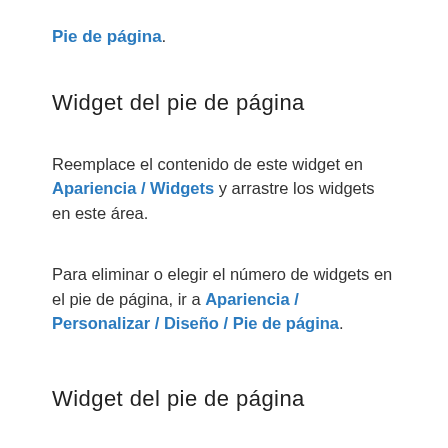Pie de página.
Widget del pie de página
Reemplace el contenido de este widget en Apariencia / Widgets y arrastre los widgets en este área.
Para eliminar o elegir el número de widgets en el pie de página, ir a Apariencia / Personalizar / Diseño / Pie de página.
Widget del pie de página
Reemplace el contenido de este widget en